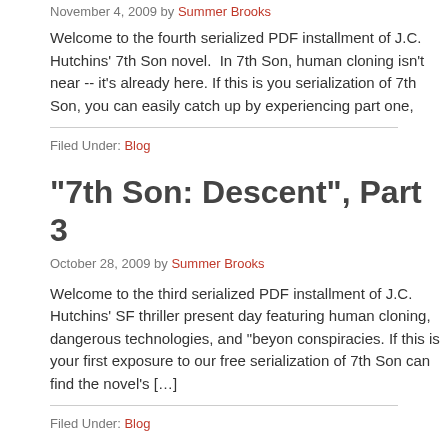November 4, 2009 by Summer Brooks
Welcome to the fourth serialized PDF installment of J.C. Hutchins' 7th Son novel.  In 7th Son, human cloning isn't near -- it's already here. If this is you serialization of 7th Son, you can easily catch up by experiencing part one,
Filed Under: Blog
"7th Son: Descent", Part 3
October 28, 2009 by Summer Brooks
Welcome to the third serialized PDF installment of J.C. Hutchins' SF thriller present day featuring human cloning, dangerous technologies, and "beyon conspiracies. If this is your first exposure to our free serialization of 7th Son can find the novel's [...]
Filed Under: Blog
"7th Son: Descent", Part 2
October 21, 2009 by Summer Brooks
Welcome to the second serialized installment of J.C. Hutchins' SF thriller